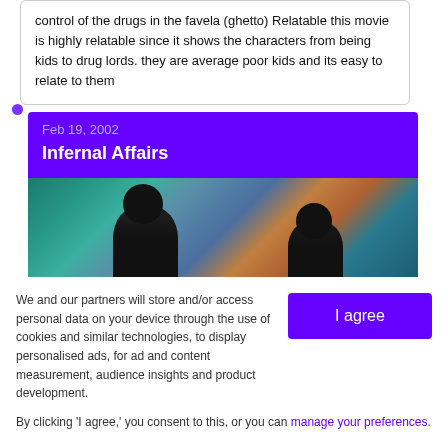control of the drugs in the favela (ghetto) Relatable this movie is highly relatable since it shows the characters from being kids to drug lords. they are average poor kids and its easy to relate to them
Feb 19, 2002
Infernal Affairs
[Figure (photo): Movie poster image showing silhouettes of two people against a teal/orange blurred background]
We and our partners will store and/or access personal data on your device through the use of cookies and similar technologies, to display personalised ads, for ad and content measurement, audience insights and product development.
By clicking 'I agree,' you consent to this, or you can manage your preferences.